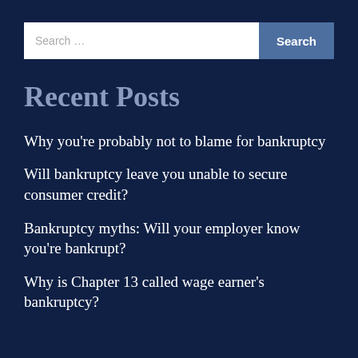Search ...
Recent Posts
Why you’re probably not to blame for bankruptcy
Will bankruptcy leave you unable to secure consumer credit?
Bankruptcy myths: Will your employer know you’re bankrupt?
Why is Chapter 13 called wage earner’s bankruptcy?